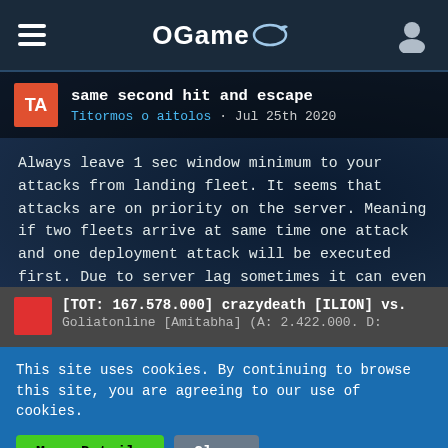OGame
same second hit and escape
Titormos o aitolos · Jul 25th 2020
Always leave 1 sec window minimum to your attacks from landing fleet. It seems that attacks are on priority on the server. Meaning if two fleets arrive at same time one attack and one deployment attack will be executed first. Due to server lag sometimes it can even take 2-3 secs for deloyed fleet or transport to settle. Its rare but it used to happent sometimes. In old timed we used to give 2-3 secs window to this. Not 100% sure thought but t seems that way.
[TOT: 167.578.000] crazydeath [ILION] vs. Goliatonline [Amitabha] (A: 2.422.000. D:
This site uses cookies. By continuing to browse this site, you are agreeing to our use of cookies.